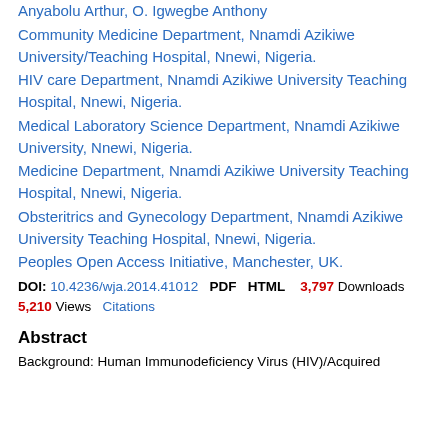Anyabolu Arthur, O. Igwegbe Anthony
Community Medicine Department, Nnamdi Azikiwe University/Teaching Hospital, Nnewi, Nigeria.
HIV care Department, Nnamdi Azikiwe University Teaching Hospital, Nnewi, Nigeria.
Medical Laboratory Science Department, Nnamdi Azikiwe University, Nnewi, Nigeria.
Medicine Department, Nnamdi Azikiwe University Teaching Hospital, Nnewi, Nigeria.
Obsteritrics and Gynecology Department, Nnamdi Azikiwe University Teaching Hospital, Nnewi, Nigeria.
Peoples Open Access Initiative, Manchester, UK.
DOI: 10.4236/wja.2014.41012   PDF   HTML   3,797 Downloads
5,210 Views   Citations
Abstract
Background: Human Immunodeficiency Virus (HIV)/Acquired